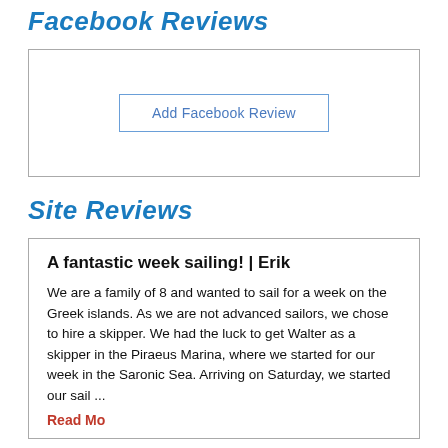Facebook Reviews
[Figure (other): A bordered box containing an 'Add Facebook Review' button centered within it.]
Site Reviews
A fantastic week sailing! | Erik
We are a family of 8 and wanted to sail for a week on the Greek islands. As we are not advanced sailors, we chose to hire a skipper. We had the luck to get Walter as a skipper in the Piraeus Marina, where we started for our week in the Saronic Sea. Arriving on Saturday, we started our sail ...
Read More